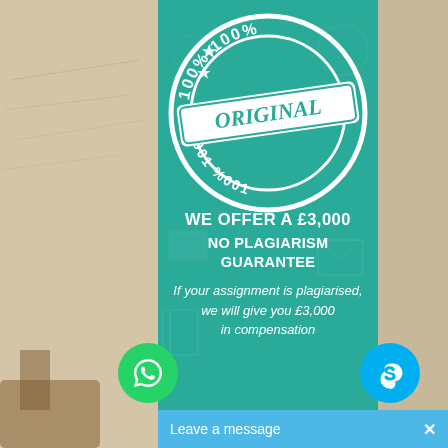[Figure (illustration): Teal promotional card with '100% ORIGINAL' stamp watermark, WhatsApp and Skype chat buttons, and a chat widget at the bottom. Left side shows a parchment/paper background with a hand writing.]
WE OFFER A £3,000
NO PLAGIARISM GUARANTEE
If your assignment is plagiarised, we will give you £3,000 in compensation